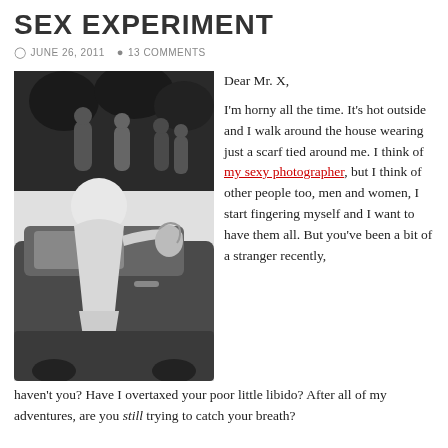SEX EXPERIMENT
JUNE 26, 2011  13 COMMENTS
[Figure (illustration): Black and white stylized illustration of a person leaning into a car window, with abstract figures in the background]
Dear Mr. X, I'm horny all the time. It's hot outside and I walk around the house wearing just a scarf tied around me. I think of my sexy photographer, but I think of other people too, men and women, I start fingering myself and I want to have them all. But you've been a bit of a stranger recently, haven't you? Have I overtaxed your poor little libido? After all of my adventures, are you still trying to catch your breath?